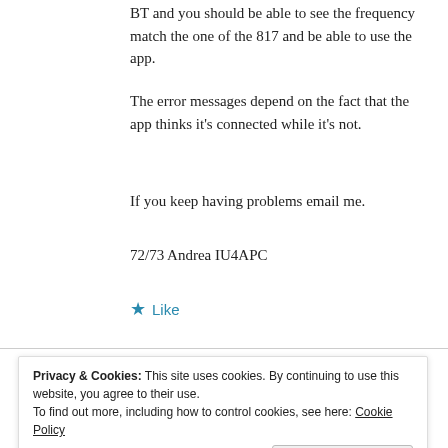BT and you should be able to see the frequency match the one of the 817 and be able to use the app.
The error messages depend on the fact that the app thinks it's connected while it's not.
If you keep having problems email me.
72/73 Andrea IU4APC
★ Like
Privacy & Cookies: This site uses cookies. By continuing to use this website, you agree to their use. To find out more, including how to control cookies, see here: Cookie Policy
Close and accept